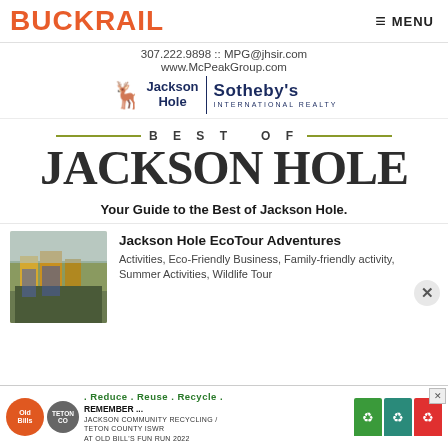BUCKRAIL  ≡ MENU
[Figure (logo): Jackson Hole Sotheby's International Realty sponsor ad with contact info: 307.222.9898 :: MPG@jhsir.com  www.McPeakGroup.com, with moose icon logo]
BEST OF JACKSON HOLE
Your Guide to the Best of Jackson Hole.
[Figure (photo): Thumbnail photo of outdoor Jackson Hole scene with autumn trees and buildings]
Jackson Hole EcoTour Adventures
Activities, Eco-Friendly Business, Family-friendly activity, Summer Activities, Wildlife Tour
[Figure (infographic): Bottom banner advertisement: .Reduce.Reuse.Recycle. REMEMBER... JACKSON COMMUNITY RECYCLING / TETON COUNTY ISWR AT OLD BILL'S FUN RUN 2022, with colorful recycling bins graphic]